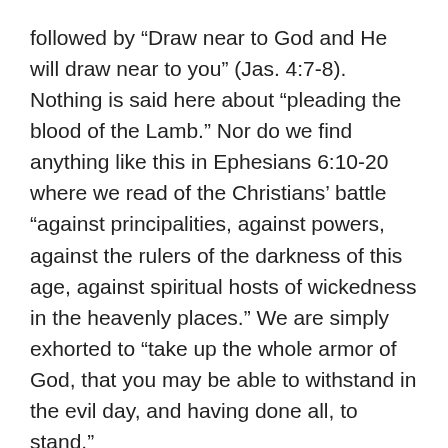followed by “Draw near to God and He will draw near to you” (Jas. 4:7-8). Nothing is said here about “pleading the blood of the Lamb.” Nor do we find anything like this in Ephesians 6:10-20 where we read of the Christians’ battle “against principalities, against powers, against the rulers of the darkness of this age, against spiritual hosts of wickedness in the heavenly places.” We are simply exhorted to “take up the whole armor of God, that you may be able to withstand in the evil day, and having done all, to stand.”
Notwithstanding Satan’s accusations, we have a good conscience before God through the blood of the Lamb. We can stand before men by the word of our testimony, even to the point of death. Think of believers assaulted by tremendous persecution in many places today. Things will become more difficult in the coming Tribulation. But the